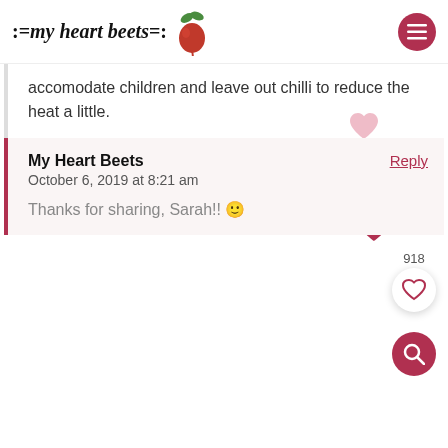[Figure (logo): My Heart Beets logo with beet illustration and decorative colons]
accomodate children and leave out chilli to reduce the heat a little.
My Heart Beets
October 6, 2019 at 8:21 am
Thanks for sharing, Sarah!! 🙂
918